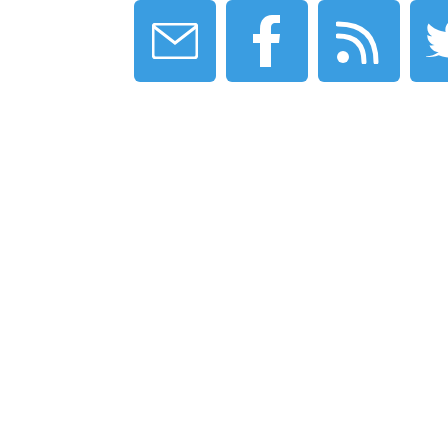[Figure (infographic): Four blue square buttons with white icons: email/envelope, Facebook 'f', RSS feed, and Twitter bird, arranged horizontally at the top of the page.]